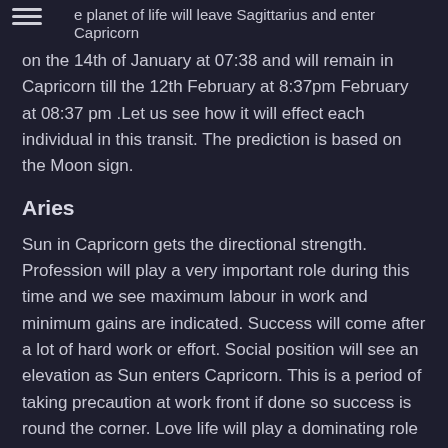the planet will leave Sagittarius and enter Capricorn on the 14th of January at 07:38 and will remain in Capricorn till the 12th February at 8:37pm February at 08:37 pm .Let us see how it will effect each individual in this transit. The prediction is based on the Moon sign.
Aries
Sun in Capricorn gets the directional strength. Profession will play a very important role during this time and we see maximum labour in work and minimum gains are indicated. Success will come after a lot of hard work or effort. Social position will see an elevation as Sun enters Capricorn. This is a period of taking precaution at work front if done so success is round the corner. Love life will play a dominating role during this time and the partner will